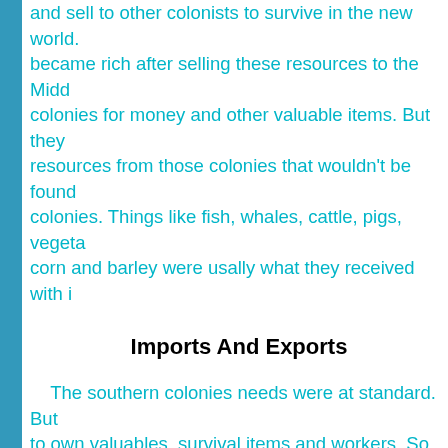and sell to other colonists to survive in the new world. became rich after selling these resources to the Middle colonies for money and other valuable items. But they resources from those colonies that wouldn't be found colonies. Things like fish, whales, cattle, pigs, vegetables, corn and barley were usally what they received with i
Imports And Exports
The southern colonies needs were at standard. But to own valuables, survival items and workers. So they had extra of and gave it to merchants to trade for good and The West Indies anywhere it was needed for valu and workers. The southern colonies usally exported T Iron and Cotton. In return their imports would usally Furniture, Tools, Silver, Books, Leather Goods, Sugar and Slaves. The colonists loved receiving this it made World a lot easier. They wouldn't have to work so har